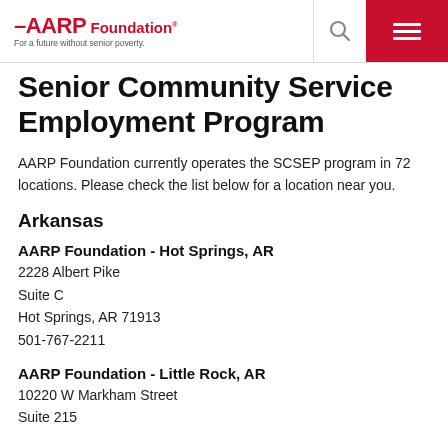AARP Foundation — For a future without senior poverty.
Senior Community Service Employment Program
AARP Foundation currently operates the SCSEP program in 72 locations. Please check the list below for a location near you.
Arkansas
AARP Foundation - Hot Springs, AR
2228 Albert Pike
Suite C
Hot Springs, AR 71913
501-767-2211
AARP Foundation - Little Rock, AR
10220 W Markham Street
Suite 215